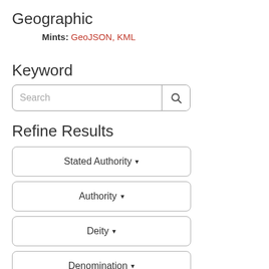Geographic
Mints: GeoJSON, KML
Keyword
Search
Refine Results
Stated Authority ▾
Authority ▾
Deity ▾
Denomination ▾
Material ▾